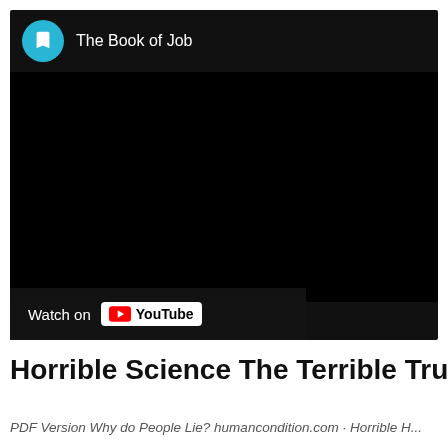[Figure (screenshot): YouTube video embed showing 'The Book of Job' channel with black video area and 'Watch on YouTube' button at bottom left]
Horrible Science The Terrible Truth Abo...
PDF Version Why do People Lie? humancondition.com · Horrible H...